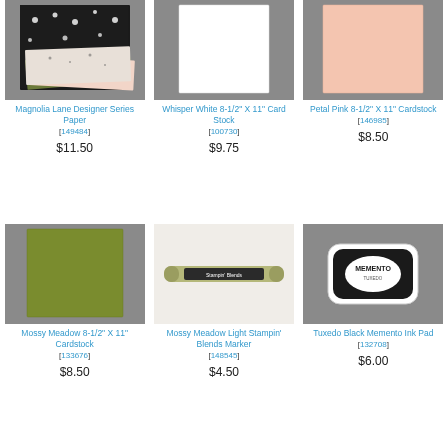[Figure (photo): Magnolia Lane Designer Series Paper - decorative patterned paper stack with black, white, and pink floral patterns]
Magnolia Lane Designer Series Paper
[149484]
$11.50
[Figure (photo): Whisper White 8-1/2 X 11 Card Stock - plain white cardstock sheet]
Whisper White 8-1/2" X 11" Card Stock
[100730]
$9.75
[Figure (photo): Petal Pink 8-1/2 X 11 Cardstock - plain light pink cardstock sheet]
Petal Pink 8-1/2" X 11" Cardstock
[146985]
$8.50
[Figure (photo): Mossy Meadow 8-1/2 X 11 Cardstock - olive green cardstock sheet]
Mossy Meadow 8-1/2" X 11" Cardstock
[133676]
$8.50
[Figure (photo): Mossy Meadow Light Stampin Blends Marker - olive green dual-tip marker]
Mossy Meadow Light Stampin' Blends Marker
[148545]
$4.50
[Figure (photo): Tuxedo Black Memento Ink Pad - small square black ink pad in white case with Memento logo]
Tuxedo Black Memento Ink Pad
[132708]
$6.00